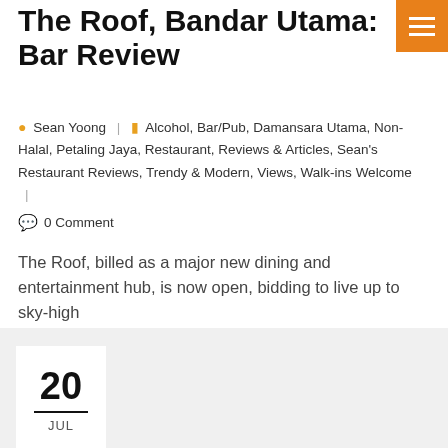The Roof, Bandar Utama: Bar Review
Sean Yoong | Alcohol, Bar/Pub, Damansara Utama, Non-Halal, Petaling Jaya, Restaurant, Reviews & Articles, Sean's Restaurant Reviews, Trendy & Modern, Views, Walk-ins Welcome | 0 Comment
The Roof, billed as a major new dining and entertainment hub, is now open, bidding to live up to sky-high
Read More
20 JUL